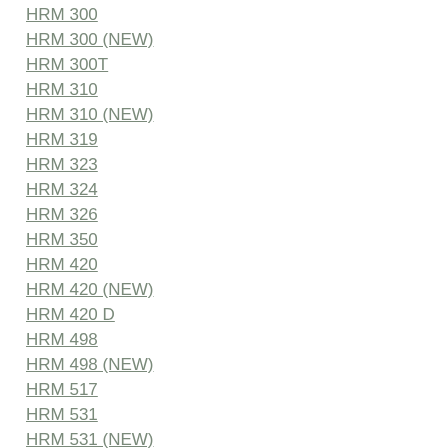HRM 300
HRM 300 (NEW)
HRM 300T
HRM 310
HRM 310 (NEW)
HRM 319
HRM 323
HRM 324
HRM 326
HRM 350
HRM 420
HRM 420 (NEW)
HRM 420 D
HRM 498
HRM 498 (NEW)
HRM 517
HRM 531
HRM 531 (NEW)
HRM 546 (NEW)